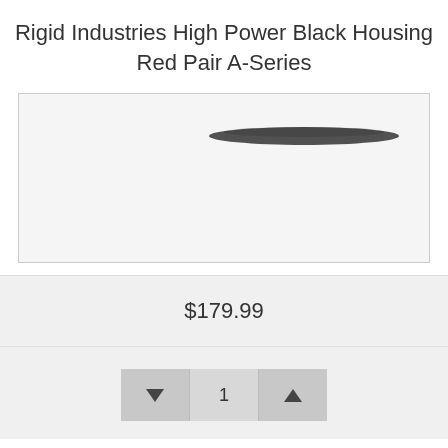Rigid Industries High Power Black Housing Red Pair A-Series
[Figure (photo): Product image area showing a faint dark oval shape (likely a light bar) on a light gray/white background]
$179.99
[Figure (other): Quantity selector widget with decrease button (triangle down), quantity display showing 1, and increase button (triangle up)]